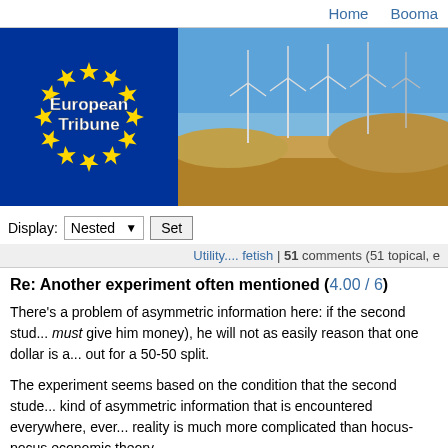Home  Booma...
[Figure (illustration): European Tribune banner: EU flag with stars and 'European Tribune' text on blue background, wind turbines on arid landscape on right]
Display: Nested [dropdown] Set
Utility.... fetish | 51 comments (51 topical, e...
Re: Another experiment often mentioned (4.00 / 6)
There's a problem of asymmetric information here: if the second stud... must give him money), he will not as easily reason that one dollar is a... out for a 50-50 split.
The experiment seems based on the condition that the second stude... kind of asymmetric information that is encountered everywhere, ever... reality is much more complicated than hocus-pocus economic theory...